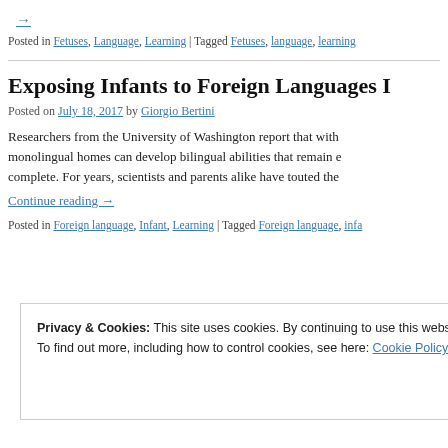→
Posted in Fetuses, Language, Learning | Tagged Fetuses, language, learning
Exposing Infants to Foreign Languages I…
Posted on July 18, 2017 by Giorgio Bertini
Researchers from the University of Washington report that with… monolingual homes can develop bilingual abilities that remain e… complete. For years, scientists and parents alike have touted the…
Continue reading →
Posted in Foreign language, Infant, Learning | Tagged Foreign language, infa…
Privacy & Cookies: This site uses cookies. By continuing to use this website, you agree to their use.
To find out more, including how to control cookies, see here: Cookie Policy
Close and accept